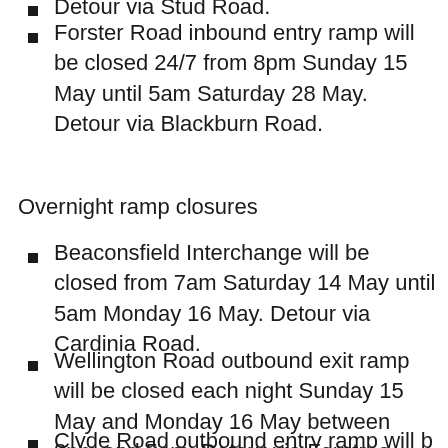Forster Road inbound entry ramp will be closed 24/7 from 8pm Sunday 15 May until 5am Saturday 28 May. Detour via Blackburn Road.
Overnight ramp closures
Beaconsfield Interchange will be closed from 7am Saturday 14 May until 5am Monday 16 May. Detour via Cardinia Road.
Wellington Road outbound exit ramp will be closed each night Sunday 15 May and Monday 16 May between 8pm and 5am. Detour via Ferntree Gully Road or Stud Road.
Clyde Road outbound entry ramp will b